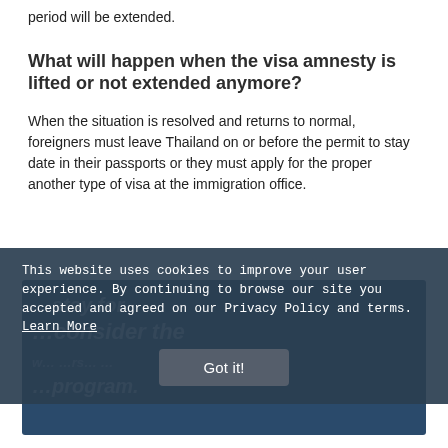period will be extended.
What will happen when the visa amnesty is lifted or not extended anymore?
When the situation is resolved and returns to normal, foreigners must leave Thailand on or before the permit to stay date in their passports or they must apply for the proper another type of visa at the immigration office.
This website uses cookies to improve your user experience. By continuing to browse our site you accepted and agreed on our Privacy Policy and terms. Learn More
Got it!